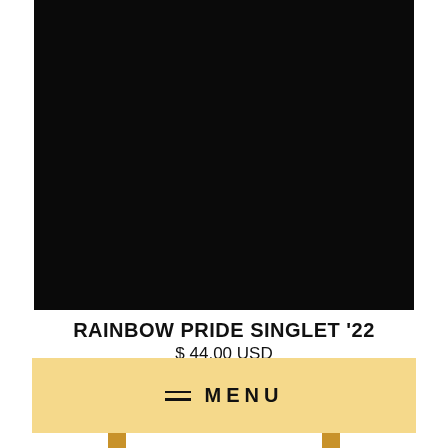[Figure (photo): Product photo of Rainbow Pride Singlet '22 on a dark/black background]
RAINBOW PRIDE SINGLET '22
$ 44.00 USD
≡  MENU